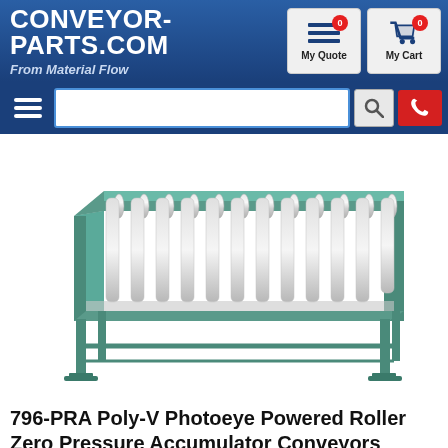CONVEYOR-PARTS.COM From Material Flow
[Figure (photo): A powered roller conveyor (796-PRA Poly-V Photoeye model) with teal/green steel frame and multiple silver cylindrical rollers, shown at an angle on a white background.]
796-PRA Poly-V Photoeye Powered Roller Zero Pressure Accumulator Conveyors